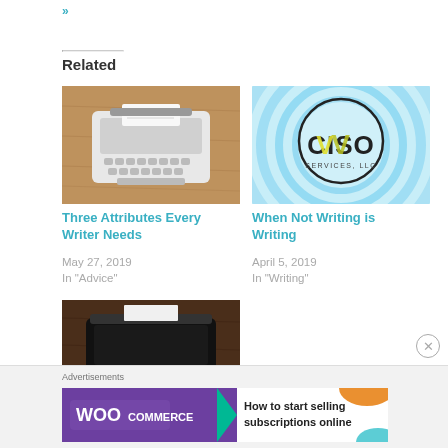»
Related
[Figure (photo): White vintage typewriter on wooden surface]
Three Attributes Every Writer Needs
May 27, 2019
In "Advice"
[Figure (logo): CISO Services LLC logo on blue concentric circles background]
When Not Writing is Writing
April 5, 2019
In "Writing"
[Figure (photo): Black vintage typewriter on dark wooden surface]
Advertisements
[Figure (screenshot): WooCommerce advertisement: How to start selling subscriptions online]